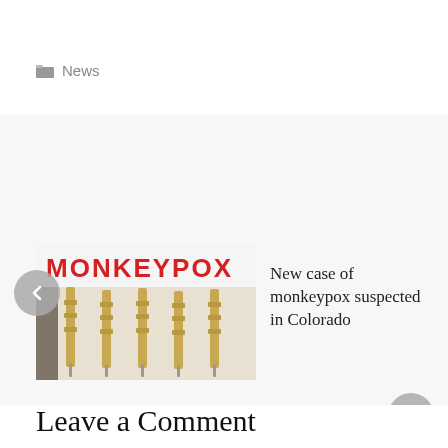News
[Figure (photo): Carousel slide showing monkeypox syringes image with MONKEYPOX text label in red, and headline 'New case of monkeypox suspected in Colorado'. Navigation arrows on left and right.]
New case of monkeypox suspected in Colorado
Google invites 3 billion Chrome users to update the application to avoid hacking
[Figure (logo): Chron logo with flame icon and grey text 'chron']
Leave a Comment